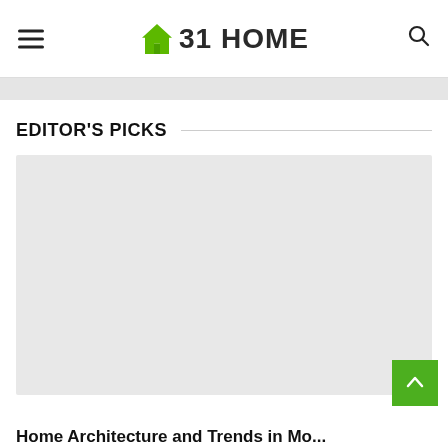31 HOME
EDITOR'S PICKS
[Figure (photo): Placeholder gray image for editor's pick article]
Home Architecture and Trends in Modern...